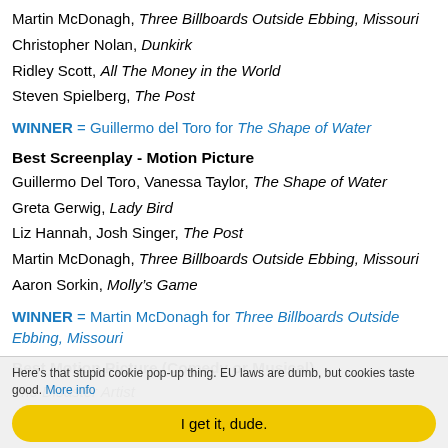Martin McDonagh, Three Billboards Outside Ebbing, Missouri
Christopher Nolan, Dunkirk
Ridley Scott, All The Money in the World
Steven Spielberg, The Post
WINNER = Guillermo del Toro for The Shape of Water
Best Screenplay - Motion Picture
Guillermo Del Toro, Vanessa Taylor, The Shape of Water
Greta Gerwig, Lady Bird
Liz Hannah, Josh Singer, The Post
Martin McDonagh, Three Billboards Outside Ebbing, Missouri
Aaron Sorkin, Molly's Game
WINNER = Martin McDonagh for Three Billboards Outside Ebbing, Missouri
Best Motion Picture (Comedy or Musical)
The Disaster Artist
Get Out
Here’s that stupid cookie pop-up thing. EU laws are dumb, but cookies taste good. More info
I get it, dude.